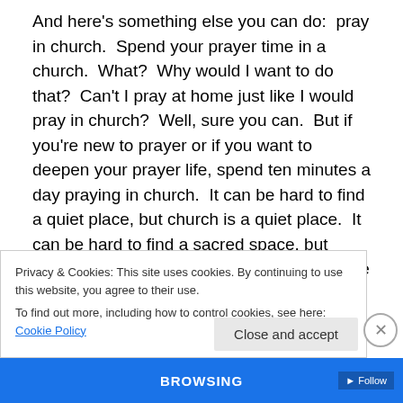And here's something else you can do:  pray in church.  Spend your prayer time in a church.  What?  Why would I want to do that?  Can't I pray at home just like I would pray in church?  Well, sure you can.  But if you're new to prayer or if you want to deepen your prayer life, spend ten minutes a day praying in church.  It can be hard to find a quiet place, but church is a quiet place.  It can be hard to find a sacred space, but church is a sacred space.  What better place to feel the closeness of God than in His house?  If you have this intimate and quiet place available for you, why wouldn't you take advantage of it?  Here's an
Privacy & Cookies: This site uses cookies. By continuing to use this website, you agree to their use.
To find out more, including how to control cookies, see here: Cookie Policy